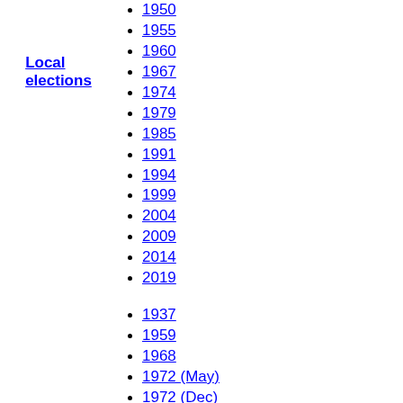Local elections
1950
1955
1960
1967
1974
1979
1985
1991
1994
1999
2004
2009
2014
2019
1937
1959
1968
1972 (May)
1972 (Dec)
1979
1983
1984
1986
1987